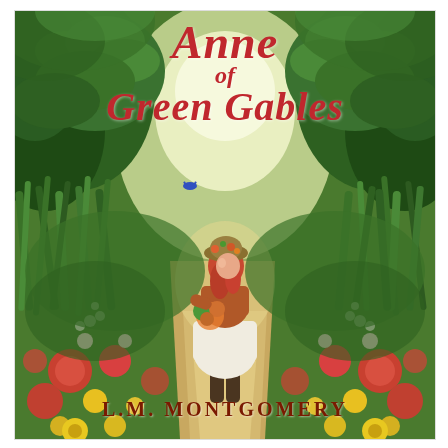[Figure (illustration): Book cover illustration of Anne of Green Gables. A young red-haired girl wearing a floral bonnet, rust-colored blouse, and white skirt walks along a sunlit garden path surrounded by lush green foliage, wildflowers (red, yellow, orange), and tall grasses. A small blue bird flies in the background. The path leads into a bright, glowing center. The style is detailed watercolor illustration.]
Anne of Green Gables
L.M. Montgomery